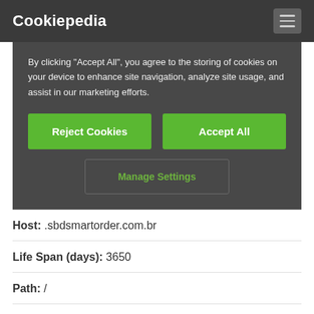Cookiepedia
By clicking "Accept All", you agree to the storing of cookies on your device to enhance site navigation, analyze site usage, and assist in our marketing efforts.
Reject Cookies
Accept All
Manage Settings
Host: .sbdsmartorder.com.br
Life Span (days): 3650
Path: /
HTTPOnly cookie? No